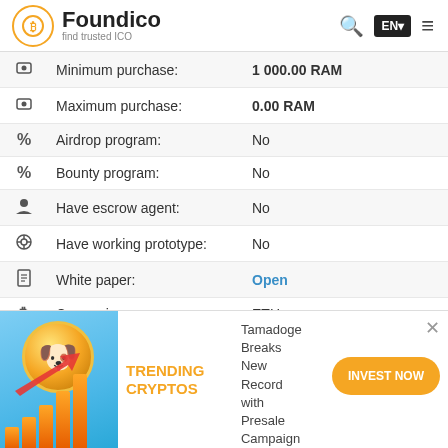Foundico — find trusted ICO
| Icon | Field | Value |
| --- | --- | --- |
|  | Minimum purchase: | 1 000.00 RAM |
|  | Maximum purchase: | 0.00 RAM |
|  | Airdrop program: | No |
|  | Bounty program: | No |
|  | Have escrow agent: | No |
|  | Have working prototype: | No |
|  | White paper: | Open |
|  | Currencies: | ETH |
|  | Platform: | Ethereum |
|  | Location: | Turkey |
|  | Website: | https://www.ram-token |
|  | Links: |  |
DESCRIPTION
[Figure (infographic): Trending Cryptos advertisement banner with Tamadoge coin graphic, bar chart, arrow up, TRENDING CRYPTOS text, Tamadoge Breaks New Record with Presale Campaign text, and INVEST NOW button]